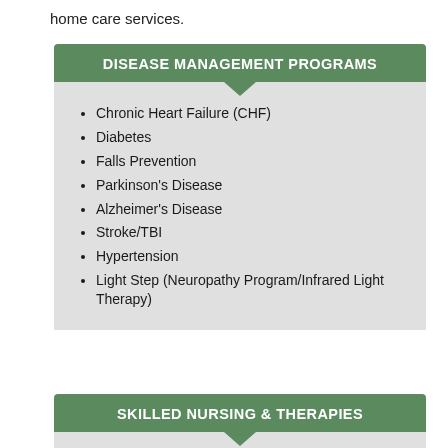home care services.
DISEASE MANAGEMENT PROGRAMS
Chronic Heart Failure (CHF)
Diabetes
Falls Prevention
Parkinson's Disease
Alzheimer's Disease
Stroke/TBI
Hypertension
Light Step (Neuropathy Program/Infrared Light Therapy)
SKILLED NURSING & THERAPIES
Skilled Nursing Services (RN or LVN/LPN)
Restorative Therapy (Speech...